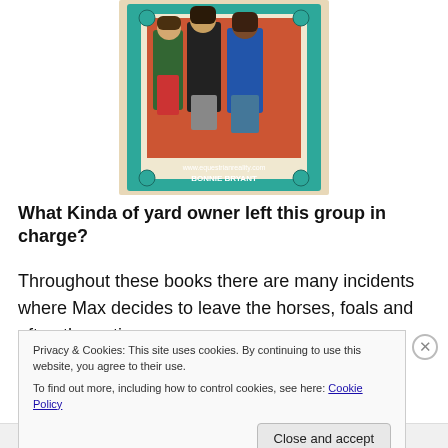[Figure (photo): Photo of a book cover showing three girls sitting together with a teal/green border. Text on cover reads 'www.equestrianreality.com' and 'BONNIE BRYANT'.]
What Kinda of yard owner left this group in charge?
Throughout these books there are many incidents where Max decides to leave the horses, foals and often the entire
Privacy & Cookies: This site uses cookies. By continuing to use this website, you agree to their use.
To find out more, including how to control cookies, see here: Cookie Policy
Close and accept